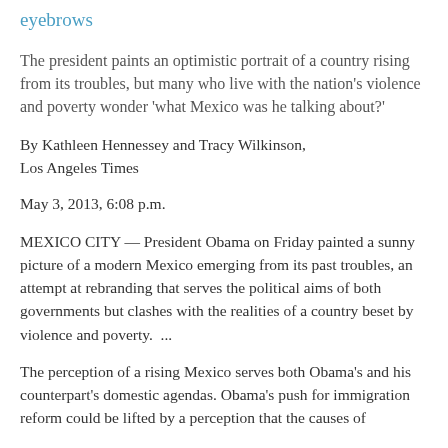eyebrows
The president paints an optimistic portrait of a country rising from its troubles, but many who live with the nation's violence and poverty wonder 'what Mexico was he talking about?'
By Kathleen Hennessey and Tracy Wilkinson, Los Angeles Times
May 3, 2013, 6:08 p.m.
MEXICO CITY — President Obama on Friday painted a sunny picture of a modern Mexico emerging from its past troubles, an attempt at rebranding that serves the political aims of both governments but clashes with the realities of a country beset by violence and poverty.  ...
The perception of a rising Mexico serves both Obama's and his counterpart's domestic agendas. Obama's push for immigration reform could be lifted by a perception that the causes of